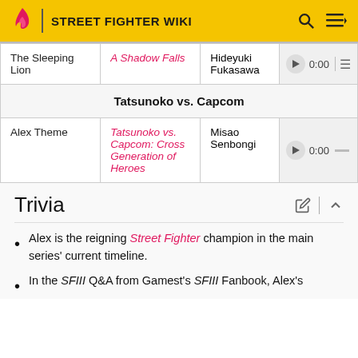STREET FIGHTER WIKI
| Track | Album | Composer | Audio |
| --- | --- | --- | --- |
| The Sleeping Lion | A Shadow Falls | Hideyuki Fukasawa | ▶ 0:00 |
| Tatsunoko vs. Capcom |  |  |  |
| Alex Theme | Tatsunoko vs. Capcom: Cross Generation of Heroes | Misao Senbongi | ▶ 0:00 |
Trivia
Alex is the reigning Street Fighter champion in the main series' current timeline.
In the SFIII Q&A from Gamest's SFIII Fanbook, Alex's